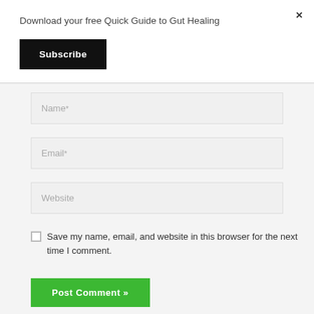Download your free Quick Guide to Gut Healing
Subscribe
×
Name*
Email*
Website
Save my name, email, and website in this browser for the next time I comment.
Post Comment »